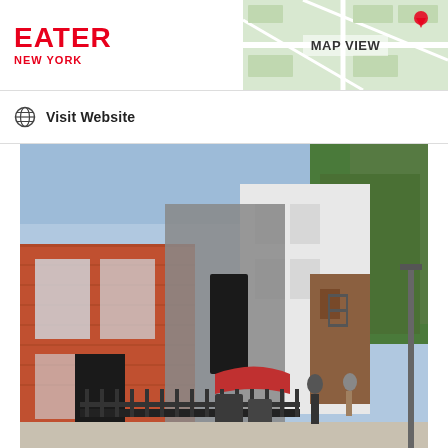EATER NEW YORK
MAP VIEW
Visit Website
[Figure (photo): Street-level exterior photograph of a New York City block showing brownstone and brick buildings, a dark hanging sign, red awning, iron fence, trash cans, and trees along the sidewalk with pedestrians walking.]